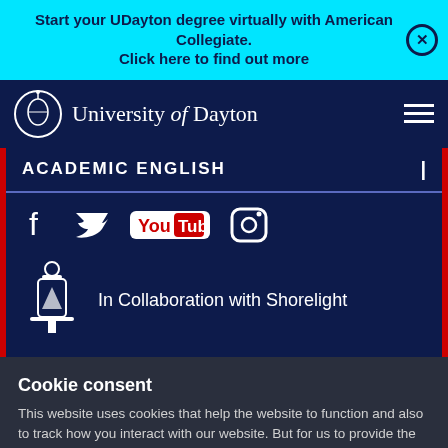Start your UDayton degree virtually with American Collegiate. Click here to find out more
[Figure (logo): University of Dayton logo and navigation bar with hamburger menu]
ACADEMIC ENGLISH
[Figure (infographic): Social media icons: Facebook, Twitter, YouTube, Instagram on dark navy background]
[Figure (illustration): Shorelight lantern logo with text: In Collaboration with Shorelight]
Cookie consent
This website uses cookies that help the website to function and also to track how you interact with our website. But for us to provide the best user experience, enable the specific cookies from Settings, and click on Accept.
Preferences   Accept